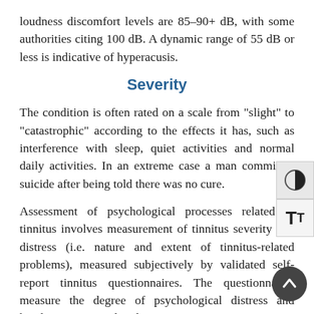loudness discomfort levels are 85–90+ dB, with some authorities citing 100 dB. A dynamic range of 55 dB or less is indicative of hyperacusis.
Severity
The condition is often rated on a scale from "slight" to "catastrophic" according to the effects it has, such as interference with sleep, quiet activities and normal daily activities. In an extreme case a man committed suicide after being told there was no cure.
Assessment of psychological processes related to tinnitus involves measurement of tinnitus severity and distress (i.e. nature and extent of tinnitus-related problems), measured subjectively by validated self-report tinnitus questionnaires. The questionnaires measure the degree of psychological distress and handicap associated with tinnitus,